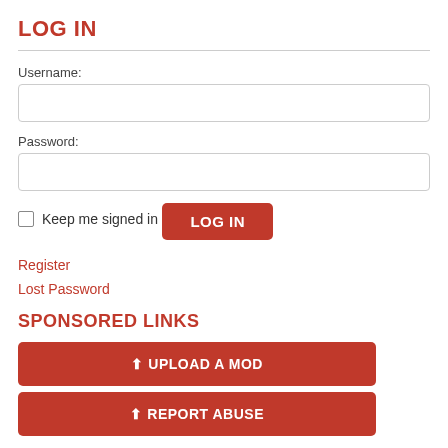LOG IN
Username:
Password:
Keep me signed in
LOG IN
Register
Lost Password
SPONSORED LINKS
UPLOAD A MOD
REPORT ABUSE